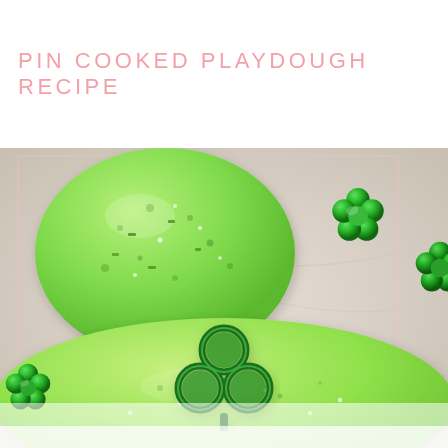PIN COOKED PLAYDOUGH RECIPE
[Figure (photo): A photo of green cooked playdough with a clover-shaped cookie cutter pressed into a flat disk of playdough, and shiny metallic green flower-shaped decorations scattered on a marble surface.]